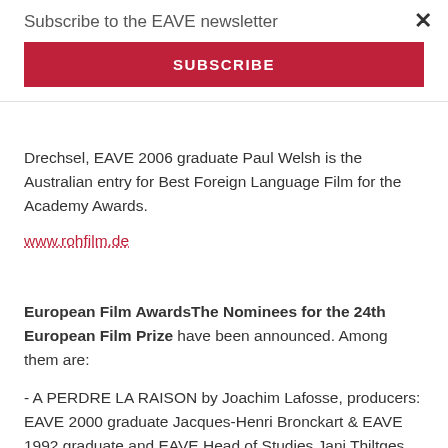Subscribe to the EAVE newsletter
SUBSCRIBE
Drechsel, EAVE 2006 graduate Paul Welsh is the Australian entry for Best Foreign Language Film for the Academy Awards.
www.rohfilm.de
European Film AwardsThe Nominees for the 24th European Film Prize have been announced. Among them are:
- A PERDRE LA RAISON by Joachim Lafosse, producers: EAVE 2000 graduate Jacques-Henri Bronckart & EAVE 1992 graduate and EAVE Head of Studies Jani Thiltges